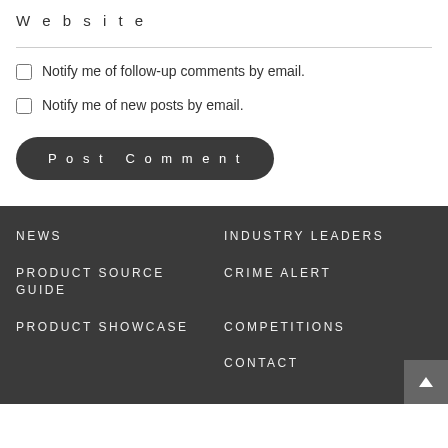Website
Notify me of follow-up comments by email.
Notify me of new posts by email.
Post Comment
NEWS | PRODUCT SOURCE GUIDE | PRODUCT SHOWCASE | INDUSTRY LEADERS | CRIME ALERT | COMPETITIONS | CONTACT